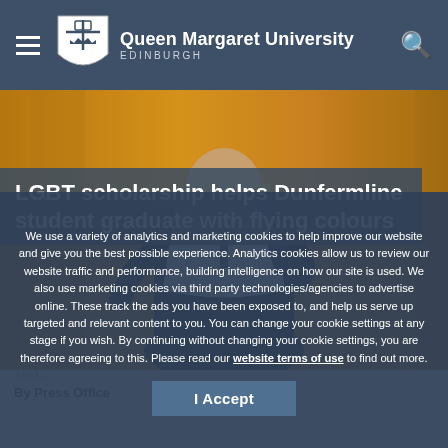Queen Margaret University EDINBURGH
[Figure (photo): A graduate in academic gown and hood holding a scroll/diploma, standing against a warm golden/orange background. The graduate is a bald man with a beard wearing a black academic gown with white hood.]
LGBT scholarship helps Dunfermline student graduate with flying colours
We use a variety of analytics and marketing cookies to help improve our website and give you the best possible experience. Analytics cookies allow us to review our website traffic and performance, building intelligence on how our site is used. We also use marketing cookies via third party technologies/agencies to advertise online. These track the ads you have been exposed to, and help us serve up targeted and relevant content to you. You can change your cookie settings at any stage if you wish. By continuing without changing your cookie settings, you are therefore agreeing to this. Please read our website terms of use to find out more.
I Accept
By Press Office